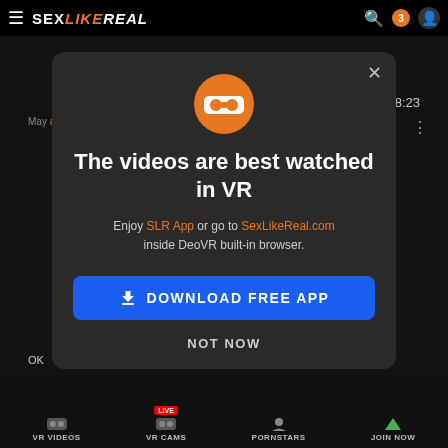[Figure (screenshot): Screenshot of SexLikeReal website with a modal dialog overlay. Background shows dark website interface with top navigation bar containing hamburger menu, SexLikeReal logo, and icons. A modal popup in the center shows a VR headset icon, heading text 'The videos are best watched in VR', description text with orange links 'SLR App' and 'SexLikeReal.com', a blue 'DOWNLOAD FREE APP' button, and a 'NOT NOW' text link. Bottom navigation bar shows VR VIDEOS, VR CAMS (with LIVE badge), PORNSTARS, and JOIN NOW items.]